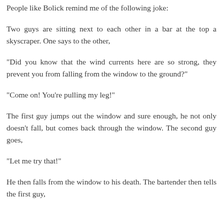women who want to raise healthy, well adjusted, non-poverty stricken children."
People like Bolick remind me of the following joke:
Two guys are sitting next to each other in a bar at the top a skyscraper. One says to the other,
"Did you know that the wind currents here are so strong, they prevent you from falling from the window to the ground?"
"Come on! You're pulling my leg!"
The first guy jumps out the window and sure enough, he not only doesn't fall, but comes back through the window. The second guy goes,
"Let me try that!"
He then falls from the window to his death. The bartender then tells the first guy,